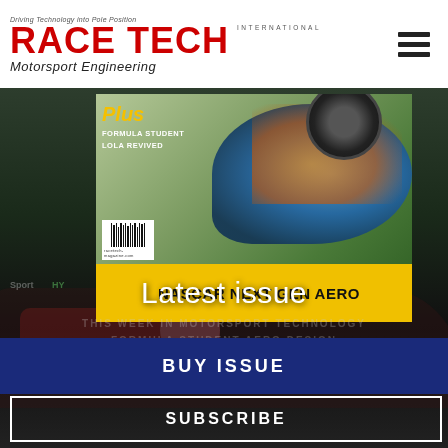RACE TECH International Motorsport Engineering
[Figure (photo): Race Tech International magazine cover showing NASCAR Next Gen Aero feature with race car on cover, yellow banner with NASCAR NEXT GEN AERO text, Plus: FORMULA STUDENT, LOLA REVIVED]
[Figure (photo): Background photo of motorsport racing car (Audi Sport prototype) on track, dark/nighttime ambiance]
Latest issue
BUY ISSUE
SUBSCRIBE